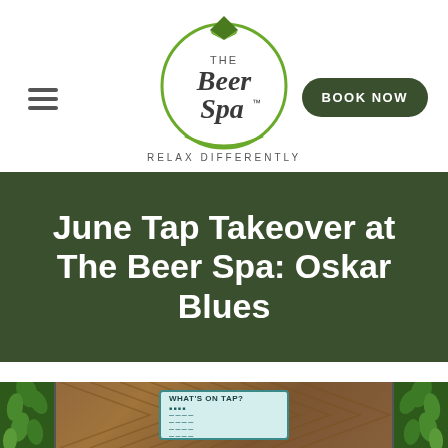[Figure (logo): The Beer Spa circular logo with green diamond/gem icon on top, circle border, text THE Beer Spa with TM mark]
RELAX DIFFERENTLY
June Tap Takeover at The Beer Spa: Oskar Blues
[Figure (photo): Interior photo of The Beer Spa showing wooden chevron-patterned wall with green living plant wall panels on sides and a 'What's On Tap?' menu sign in the center]